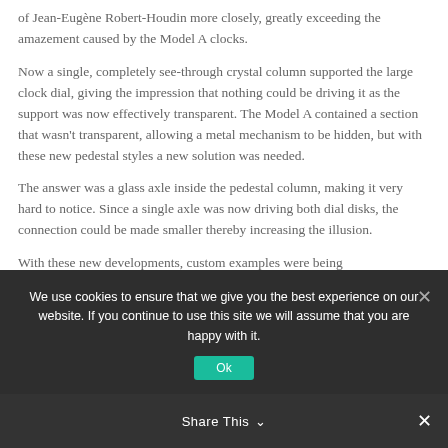of Jean-Eugène Robert-Houdin more closely, greatly exceeding the amazement caused by the Model A clocks.
Now a single, completely see-through crystal column supported the large clock dial, giving the impression that nothing could be driving it as the support was now effectively transparent. The Model A contained a section that wasn't transparent, allowing a metal mechanism to be hidden, but with these new pedestal styles a new solution was needed.
The answer was a glass axle inside the pedestal column, making it very hard to notice. Since a single axle was now driving both dial disks, the connection could be made smaller thereby increasing the illusion.
With these new developments, custom examples were being
We use cookies to ensure that we give you the best experience on our website. If you continue to use this site we will assume that you are happy with it.
Share This